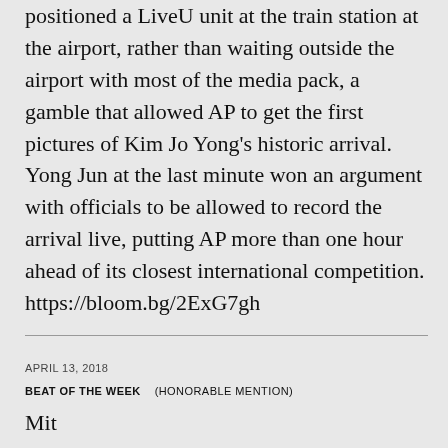positioned a LiveU unit at the train station at the airport, rather than waiting outside the airport with most of the media pack, a gamble that allowed AP to get the first pictures of Kim Jo Yong's historic arrival. Yong Jun at the last minute won an argument with officials to be allowed to record the arrival live, putting AP more than one hour ahead of its closest international competition. https://bloom.bg/2ExG7gh
APRIL 13, 2018
BEAT OF THE WEEK    (HONORABLE MENTION)
Mit...